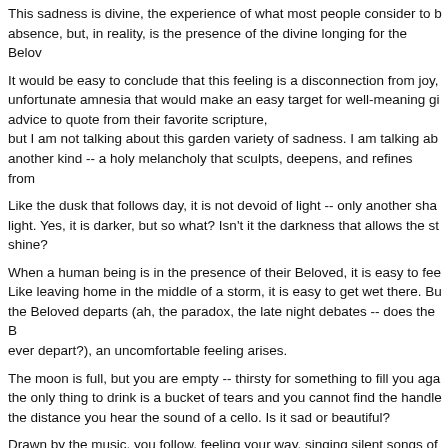This sadness is divine, the experience of what most people consider to be absence, but, in reality, is the presence of the divine longing for the Belo...
It would be easy to conclude that this feeling is a disconnection from joy, unfortunate amnesia that would make an easy target for well-meaning gi... advice to quote from their favorite scripture, but I am not talking about this garden variety of sadness. I am talking abo... another kind -- a holy melancholy that sculpts, deepens, and refines from...
Like the dusk that follows day, it is not devoid of light -- only another sha... light. Yes, it is darker, but so what? Isn't it the darkness that allows the st... shine?
When a human being is in the presence of their Beloved, it is easy to fee... Like leaving home in the middle of a storm, it is easy to get wet there. Bu... the Beloved departs (ah, the paradox, the late night debates -- does the B ever depart?), an uncomfortable feeling arises.
The moon is full, but you are empty -- thirsty for something to fill you aga... the only thing to drink is a bucket of tears and you cannot find the handle... the distance you hear the sound of a cello. Is it sad or beautiful?
Drawn by the music, you follow, feeling your way, singing silent songs of... and wondering if what you hear is the sound of your own voice or your na... being called.
You know and have always known, that the Beloved has left the world be... a gift. But you do not want the gift. You want the Giver.
Video production: Fernando Garcia
Music: Stuart Hoffman
Pastor: Mitch Ri...